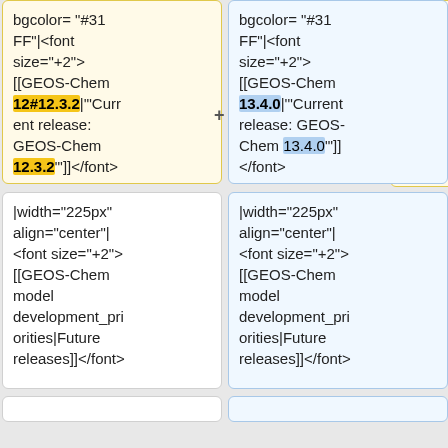bgcolor="#31FF"|<font size="+2"> [[GEOS-Chem 12#12.3.2|'''Current release: GEOS-Chem 12.3.2''']]</font>
bgcolor="#31FF"|<font size="+2"> [[GEOS-Chem 13.4.0|'''Current release: GEOS-Chem 13.4.0''']]</font>
|width="225px" align="center"| <font size="+2"> [[GEOS-Chem model development_priorities|Future releases]]</font>
|width="225px" align="center"| <font size="+2"> [[GEOS-Chem model development_priorities|Future releases]]</font>
|}
|}
== News ==